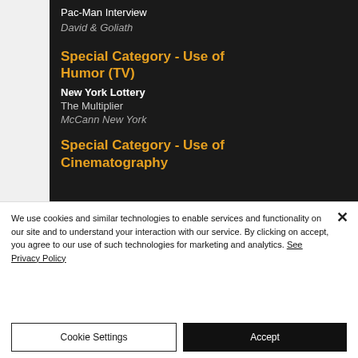Pac-Man Interview
David & Goliath
Special Category - Use of Humor (TV)
New York Lottery
The Multiplier
McCann New York
Special Category - Use of Cinematography
We use cookies and similar technologies to enable services and functionality on our site and to understand your interaction with our service. By clicking on accept, you agree to our use of such technologies for marketing and analytics. See Privacy Policy